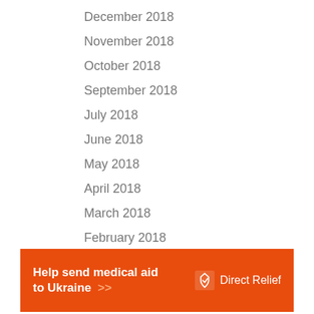December 2018
November 2018
October 2018
September 2018
July 2018
June 2018
May 2018
April 2018
March 2018
February 2018
January 2018
[Figure (infographic): Direct Relief advertisement banner: orange background with white bold text 'Help send medical aid to Ukraine >>' and Direct Relief logo on the right]